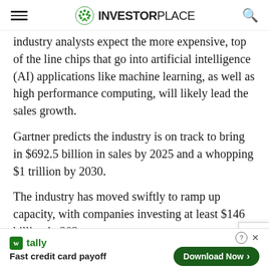InvestorPlace
Industry analysts expect the more expensive, top-of-the-line chips that go into artificial intelligence (AI) applications like machine learning, as well as high performance computing, will likely lead the sales growth.
Gartner predicts the industry is on track to bring in $692.5 billion in sales by 2025 and a whopping $1 trillion by 2030.
The industry has moved swiftly to ramp up capacity, with companies investing at least $146 billion in 202